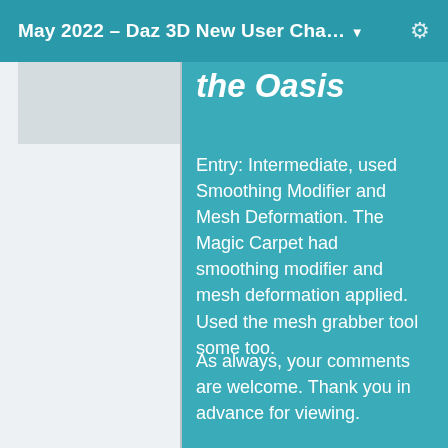May 2022 – Daz 3D New User Cha…
the Oasis
Entry: Intermediate, used Smoothing Modifier and Mesh Deformation. The Magic Carpet had smoothing modifier and mesh deformation applied. Used the mesh grabber tool some too.
As always, your comments are welcome. Thank you in advance for viewing.